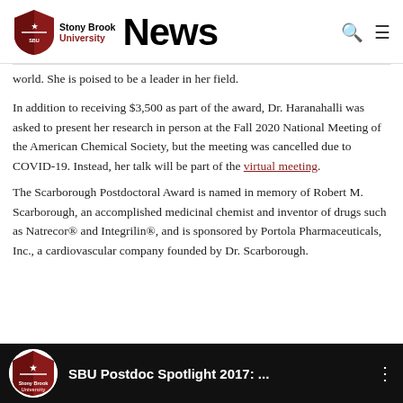Stony Brook University News
world. She is poised to be a leader in her field.
In addition to receiving $3,500 as part of the award, Dr. Haranahalli was asked to present her research in person at the Fall 2020 National Meeting of the American Chemical Society, but the meeting was cancelled due to COVID-19. Instead, her talk will be part of the virtual meeting.
The Scarborough Postdoctoral Award is named in memory of Robert M. Scarborough, an accomplished medicinal chemist and inventor of drugs such as Natrecor® and Integrilin®, and is sponsored by Portola Pharmaceuticals, Inc., a cardiovascular company founded by Dr. Scarborough.
[Figure (screenshot): Video thumbnail showing Stony Brook University logo and title 'SBU Postdoc Spotlight 2017:...' on dark background]